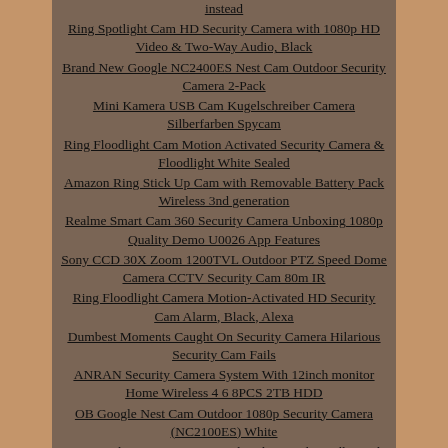instead
Ring Spotlight Cam HD Security Camera with 1080p HD Video & Two-Way Audio, Black
Brand New Google NC2400ES Nest Cam Outdoor Security Camera 2-Pack
Mini Kamera USB Cam Kugelschreiber Camera Silberfarben Spycam
Ring Floodlight Cam Motion Activated Security Camera & Floodlight White Sealed
Amazon Ring Stick Up Cam with Removable Battery Pack Wireless 3nd generation
Realme Smart Cam 360 Security Camera Unboxing 1080p Quality Demo U0026 App Features
Sony CCD 30X Zoom 1200TVL Outdoor PTZ Speed Dome Camera CCTV Security Cam 80m IR
Ring Floodlight Camera Motion-Activated HD Security Cam Alarm, Black, Alexa
Dumbest Moments Caught On Security Camera Hilarious Security Cam Fails
ANRAN Security Camera System With 12inch monitor Home Wireless 4 6 8PCS 2TB HDD
OB Google Nest Cam Outdoor 1080p Security Camera (NC2100ES) White
Ring Stick Up Cam Battery with Solar Panel Bundle Deal Camera (4 Pack, White)
Ring Floodlight Camera Motion-Activated HD